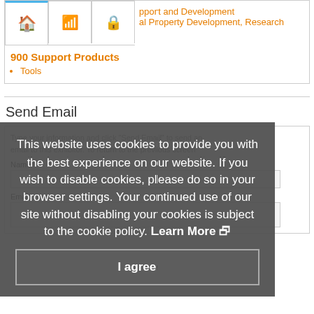[Figure (screenshot): Navigation icon row with home, wifi, and lock icons; one tab highlighted with blue top border]
pport and Development
al Property Development, Research
900 Support Products
Tools
Send Email
Type your information and click "Send Email" to send an email to this exhibitor. To return to the previous screen
Name*
Email*
This website uses cookies to provide you with the best experience on our website. If you wish to disable cookies, please do so in your browser settings. Your continued use of our site without disabling your cookies is subject to the cookie policy. Learn More
I agree